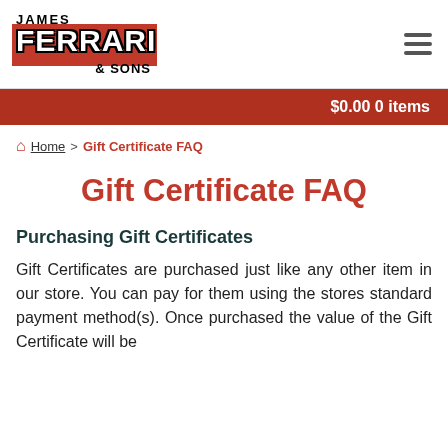[Figure (logo): James Ferrari & Sons logo with red background and bold white text]
$0.00 0 items
Home > Gift Certificate FAQ
Gift Certificate FAQ
Purchasing Gift Certificates
Gift Certificates are purchased just like any other item in our store. You can pay for them using the stores standard payment method(s). Once purchased the value of the Gift Certificate will be